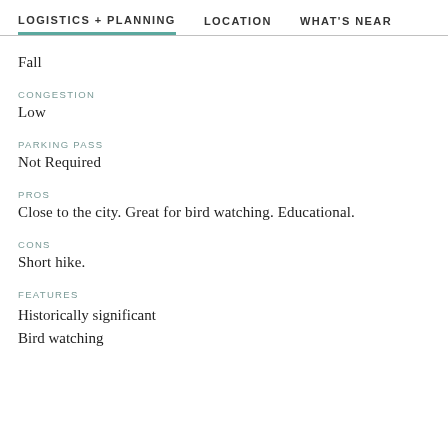LOGISTICS + PLANNING   LOCATION   WHAT'S NEAR
Fall
CONGESTION
Low
PARKING PASS
Not Required
PROS
Close to the city. Great for bird watching. Educational.
CONS
Short hike.
FEATURES
Historically significant
Bird watching